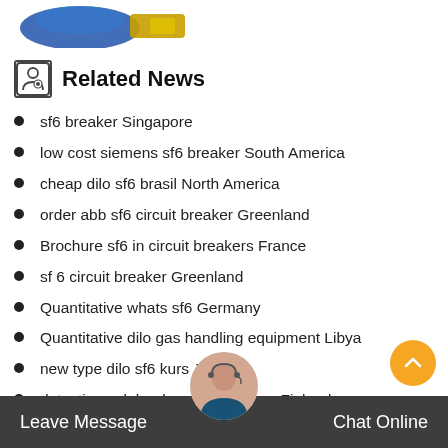[Figure (photo): Partial product image visible at top of page]
Related News
sf6 breaker Singapore
low cost siemens sf6 breaker South America
cheap dilo sf6 brasil North America
order abb sf6 circuit breaker Greenland
Brochure sf6 in circuit breakers France
sf 6 circuit breaker Greenland
Quantitative whats sf6 Germany
Quantitative dilo gas handling equipment Libya
new type dilo sf6 kurs Japan
detecting sulphur hexafluoride gas Finland
Leave Message   Chat Online